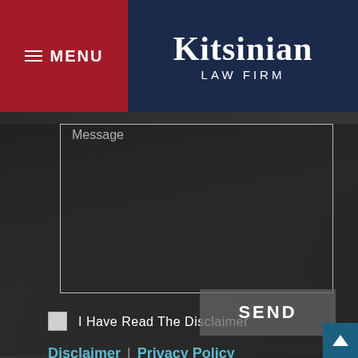MENU | KITSINIAN LAW FIRM
Message
I Have Read The Disclaimer *
Disclaimer | Privacy Policy
SEND